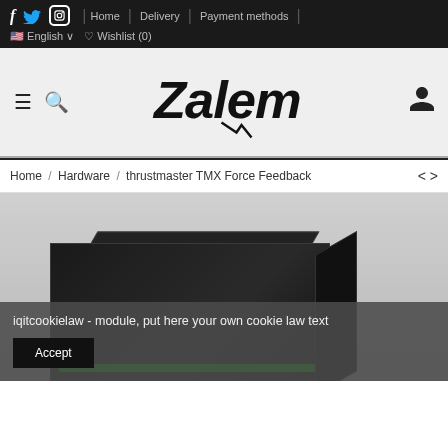f  Twitter  Instagram  |  Home  |  Delivery  |  Payment methods  |  🇺🇸 English ∨  ♡ Wishlist (0)
[Figure (logo): Zalem store logo — stylized italic lettering in black on light grey background]
Home / Hardware / thrustmaster TMX Force Feedback
[Figure (photo): Product photo of Thrustmaster TMX Force Feedback racing wheel box]
iqitcookielaw - module, put here your own cookie law text
Accept